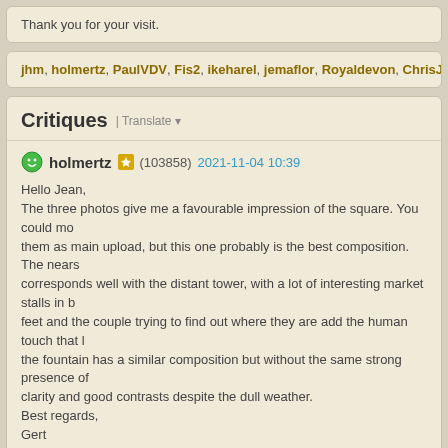Thank you for your visit.
jhm, holmertz, PaulVDV, Fis2, ikeharel, jemaflor, Royaldevon, ChrisJ has m
Critiques | Translate
holmertz (103858) 2021-11-04 10:39
Hello Jean,
The three photos give me a favourable impression of the square. You could mo them as main upload, but this one probably is the best composition. The nears corresponds well with the distant tower, with a lot of interesting market stalls in b feet and the couple trying to find out where they are add the human touch that l the fountain has a similar composition but without the same strong presence of clarity and good contrasts despite the dull weather.
Best regards,
Gert
jhm (211738) 2021-11-04 10:52
Hello Jean,